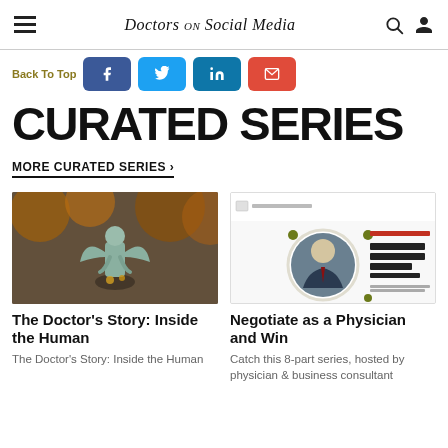Doctors on Social Media
Back To Top
CURATED SERIES
MORE CURATED SERIES >
[Figure (photo): Angel statue in a cemetery setting with autumn foliage]
[Figure (photo): Podcast card showing a man in a suit, titled 'How to Negotiate as a Physician & Win', produced by Doximity]
The Doctor's Story: Inside the Human
The Doctor's Story: Inside the Human
Negotiate as a Physician and Win
Catch this 8-part series, hosted by physician & business consultant